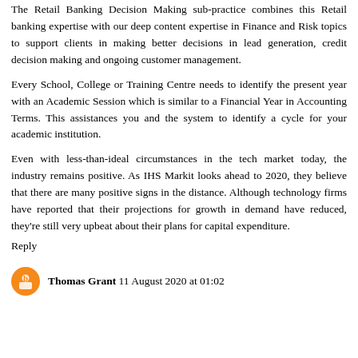The Retail Banking Decision Making sub-practice combines this Retail banking expertise with our deep content expertise in Finance and Risk topics to support clients in making better decisions in lead generation, credit decision making and ongoing customer management.
Every School, College or Training Centre needs to identify the present year with an Academic Session which is similar to a Financial Year in Accounting Terms. This assistances you and the system to identify a cycle for your academic institution.
Even with less-than-ideal circumstances in the tech market today, the industry remains positive. As IHS Markit looks ahead to 2020, they believe that there are many positive signs in the distance. Although technology firms have reported that their projections for growth in demand have reduced, they're still very upbeat about their plans for capital expenditure.
Reply
Thomas Grant 11 August 2020 at 01:02